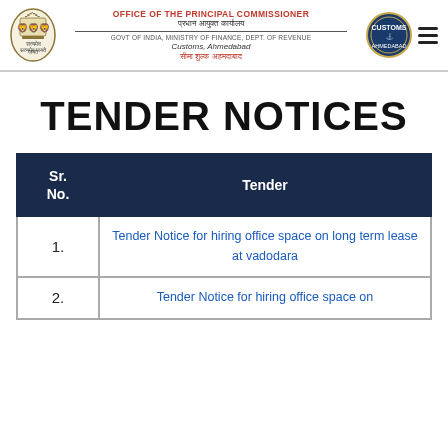OFFICE OF THE PRINCIPAL COMMISSIONER
प्रधान आयुक्त कार्यालय
GOVT OF INDIA, MINISTRY OF FINANCE, DEPT. OF REVENUE
Customs, Ahmedabad
सीमा शुल्क अहमदाबाद
TENDER NOTICES
| Sr. No. | Tender |
| --- | --- |
| 1. | Tender Notice for hiring office space on long term lease at vadodara |
| 2. | Tender Notice for hiring office space on |